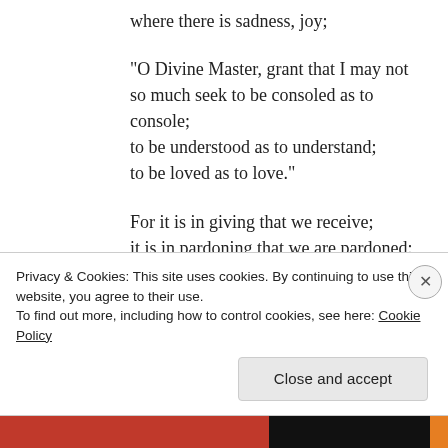where there is sadness, joy;
“O Divine Master, grant that I may not so much seek to be consoled as to console;
to be understood as to understand;
to be loved as to love.”
For it is in giving that we receive;
it is in pardoning that we are pardoned;
and it is in dying that we are born to eternal life.
Privacy & Cookies: This site uses cookies. By continuing to use this website, you agree to their use.
To find out more, including how to control cookies, see here: Cookie Policy
Close and accept